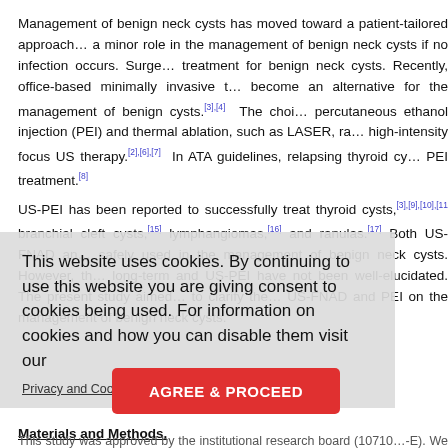Management of benign neck cysts has moved toward a patient-tailored approach... a minor role in the management of benign neck cysts if no infection occurs. Surgery remains treatment for benign neck cysts. Recently, office-based minimally invasive techniques have become an alternative for the management of benign cysts.[3],[4] The choices include percutaneous ethanol injection (PEI) and thermal ablation, such as LASER, radiofrequency, high-intensity focus US therapy.[2],[6],[7] In ATA guidelines, relapsing thyroid cysts may receive PEI treatment.[8]
US-PEI has been reported to successfully treat thyroid cysts,[3],[9],[10],[11] branchial cleft cysts,[15] lymphangiomas,[16] and ranulas.[17] Both US-FNAD and US-PEI have been safely used in the management of benign neck cysts. However, the long-term outcomes of US-FNAD and US-PEI have not been well-elucidated. The present study aimed to clarify the role of US-FNAD and PEI on the management of benign neck cysts.
[Figure (screenshot): Cookie consent overlay reading: 'This website uses cookies. By continuing to use this website you are giving consent to cookies being used. For information on cookies and how you can disable them visit our Privacy and Cookie Policy.' with an AGREE & PROCEED button.]
Materials and Methods.
This study was approved by the institutional research board (107102-E). We retrospectively reviewed patients who underwent head-and-neck US examinations from March 2007 to December... only benign neck cysts were taken for further review and analysis. The benign...